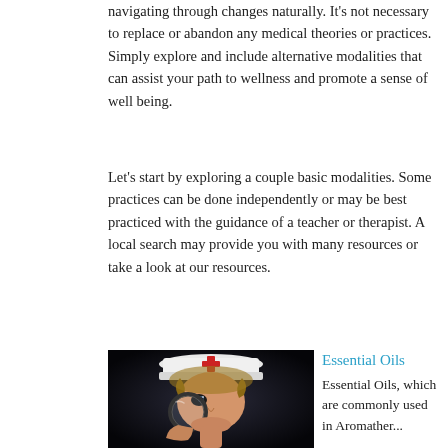navigating through changes naturally. It's not necessary to replace or abandon any medical theories or practices. Simply explore and include alternative modalities that can assist your path to wellness and promote a sense of well being.
Let's start by exploring a couple basic modalities. Some practices can be done independently or may be best practiced with the guidance of a teacher or therapist. A local search may provide you with many resources or take a look at our resources.
[Figure (photo): Child dressed as a nurse wearing a white nurse hat with a red cross, holding a magnifying glass up to their face, looking through it. Dark black background.]
Essential Oils
Essential Oils, which are commonly used in Aromather...